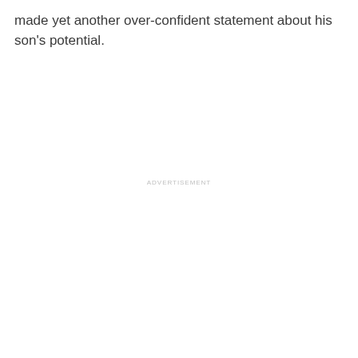made yet another over-confident statement about his son's potential.
ADVERTISEMENT